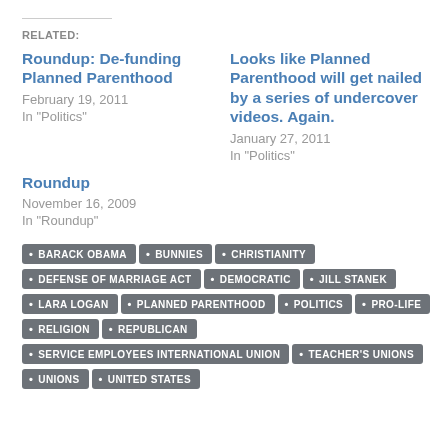RELATED:
Roundup: De-funding Planned Parenthood
February 19, 2011
In "Politics"
Looks like Planned Parenthood will get nailed by a series of undercover videos. Again.
January 27, 2011
In "Politics"
Roundup
November 16, 2009
In "Roundup"
BARACK OBAMA
BUNNIES
CHRISTIANITY
DEFENSE OF MARRIAGE ACT
DEMOCRATIC
JILL STANEK
LARA LOGAN
PLANNED PARENTHOOD
POLITICS
PRO-LIFE
RELIGION
REPUBLICAN
SERVICE EMPLOYEES INTERNATIONAL UNION
TEACHER'S UNIONS
UNIONS
UNITED STATES